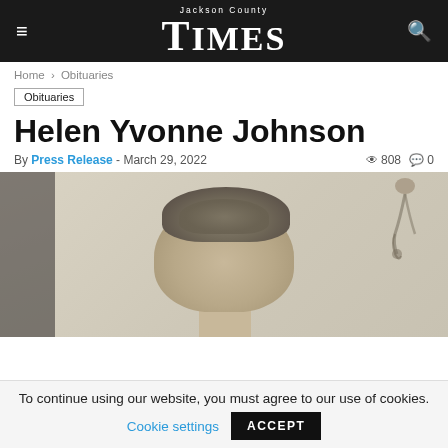Jackson County TIMES
Home > Obituaries
Obituaries
Helen Yvonne Johnson
By Press Release - March 29, 2022  808  0
[Figure (photo): Photograph of Helen Yvonne Johnson, showing top of head with gray hair, decorative wall sconce in background]
To continue using our website, you must agree to our use of cookies. Cookie settings ACCEPT